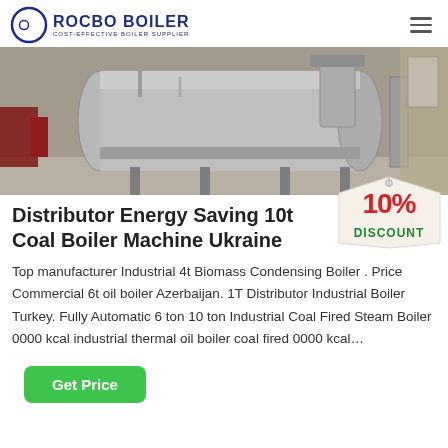ROCBO BOILER COST-EFFECTIVE BOILER SUPPLIER
[Figure (photo): Industrial boiler equipment in a factory setting, showing a large horizontal cylindrical boiler vessel with associated piping and machinery.]
Distributor Energy Saving 10t Coal Boiler Machine Ukraine
Top manufacturer Industrial 4t Biomass Condensing Boiler . Price Commercial 6t oil boiler Azerbaijan. 1T Distributor Industrial Boiler Turkey. Fully Automatic 6 ton 10 ton Industrial Coal Fired Steam Boiler 0000 kcal industrial thermal oil boiler coal fired 0000 kcal…
Get Price